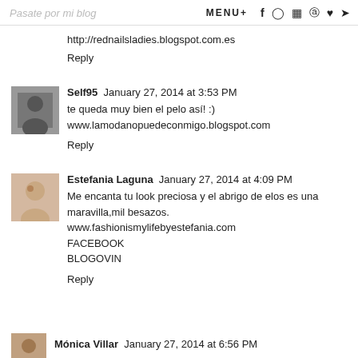Pasate por mi blog   MENU+   f  o  yt  p  ♥  t
http://rednailsladies.blogspot.com.es
Reply
Self95   January 27, 2014 at 3:53 PM
te queda muy bien el pelo así! :)
www.lamodanopuedeconmigo.blogspot.com
Reply
Estefania Laguna   January 27, 2014 at 4:09 PM
Me encanta tu look preciosa y el abrigo de elos es una maravilla,mil besazos.
www.fashionismylifebyestefania.com
FACEBOOK
BLOGOVIN
Reply
Mónica Villar   January 27, 2014 at 6:56 PM